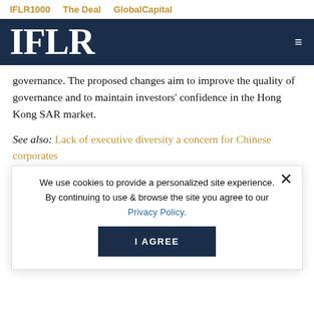IFLR1000   The Deal   GlobalCapital
IFLR
governance. The proposed changes aim to improve the quality of governance and to maintain investors' confidence in the Hong Kong SAR market.
See also: Lack of executive diversity a concern for Chinese corporates
We use cookies to provide a personalized site experience. By continuing to use & browse the site you agree to our Privacy Policy.
What will be the biggest challenge for businesses?
One of the proposed changes is that listed companies currently with single gender boards will have to appoint at least one director of the absent gender on their boards within the next 3 and 6 years. This requirement...